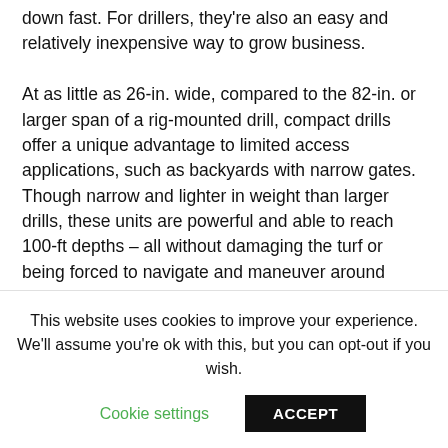down fast. For drillers, they're also an easy and relatively inexpensive way to grow business.

At as little as 26-in. wide, compared to the 82-in. or larger span of a rig-mounted drill, compact drills offer a unique advantage to limited access applications, such as backyards with narrow gates. Though narrow and lighter in weight than larger drills, these units are powerful and able to reach 100-ft depths – all without damaging the turf or being forced to navigate and maneuver around nearby structures. The compact soil sampling systems weigh less than half a ton, a fraction of the weight of rig-mounted units, but still offer up to 5,000 lbs of pushdown force. They
This website uses cookies to improve your experience. We'll assume you're ok with this, but you can opt-out if you wish.